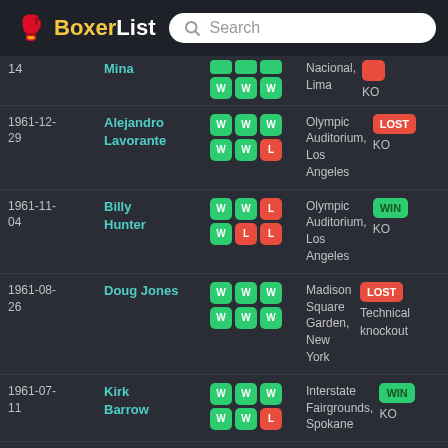BoxerList
| Date | Opponent | Record | Venue | Result |
| --- | --- | --- | --- | --- |
| 14 | Mina | W W W | Nacional, Lima | KO |
| 1961-12-29 | Alejandro Lavorante | W W W / W W L | Olympic Auditorium, Los Angeles | LOST KO |
| 1961-11-04 | Billy Hunter | W W L / W L L | Olympic Auditorium, Los Angeles | WIN KO |
| 1961-08-26 | Doug Jones | W W W / W W W | Madison Square Garden, New York | LOST Technical knockout |
| 1961-07-11 | Kirk Barrow | W W W / W W L | Interstate Fairgrounds, Spokane | WIN KO |
| 1961-06-01 | Kirk Barrow | L W W / W W W | Coliseum, Spokane | WIN KO |
| 1961-04-24 | Harold Johnson | W W W / W W W | Arena, Philadelphia | LOST Technical knockout |